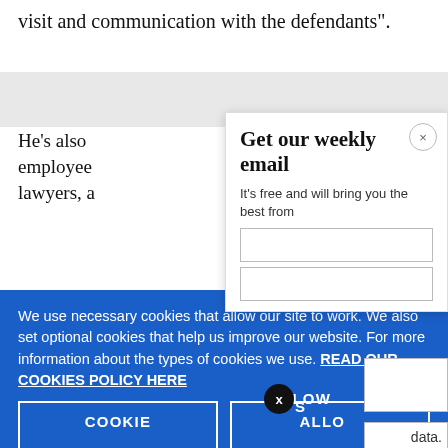visit and communication with the defendants".
He's also employee lawyers, a
[Figure (screenshot): Email newsletter signup modal with title 'Get our weekly email' and subtitle 'It’s free and will bring you the best from', with a close X button, and two input fields]
We use necessary cookies that allow our site to work. We also set optional cookies that help us improve our website. For more information about the types of cookies we use. READ OUR COOKIES POLICY HERE
COOKIE
ALLOW
Abolition - what does it really mean?
3 days ago
data.